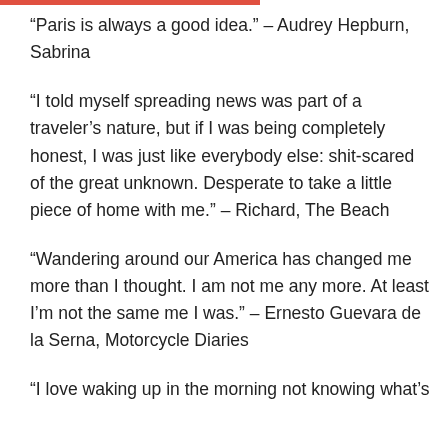“Paris is always a good idea.” – Audrey Hepburn, Sabrina
“I told myself spreading news was part of a traveler’s nature, but if I was being completely honest, I was just like everybody else: shit-scared of the great unknown. Desperate to take a little piece of home with me.” – Richard, The Beach
“Wandering around our America has changed me more than I thought. I am not me any more. At least I’m not the same me I was.” – Ernesto Guevara de la Serna, Motorcycle Diaries
“I love waking up in the morning not knowing what’s